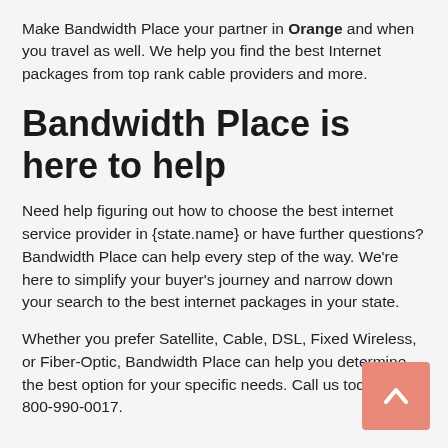Make Bandwidth Place your partner in Orange and when you travel as well. We help you find the best Internet packages from top rank cable providers and more.
Bandwidth Place is here to help
Need help figuring out how to choose the best internet service provider in {state.name} or have further questions? Bandwidth Place can help every step of the way. We're here to simplify your buyer's journey and narrow down your search to the best internet packages in your state.
Whether you prefer Satellite, Cable, DSL, Fixed Wireless, or Fiber-Optic, Bandwidth Place can help you determine the best option for your specific needs. Call us today at 800-990-0017.
[Figure (other): Orange scroll-to-top button with upward arrow icon in bottom right corner]